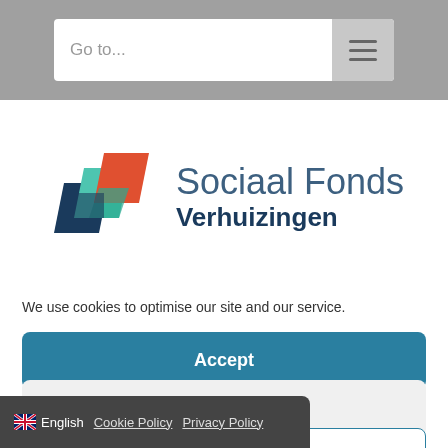Go to...
[Figure (logo): Sociaal Fonds Verhuizingen logo with geometric overlapping colored shapes (dark blue, teal, red/orange)]
We use cookies to optimise our site and our service.
Accept
Reject
Preferences
English   Cookie Policy   Privacy Policy